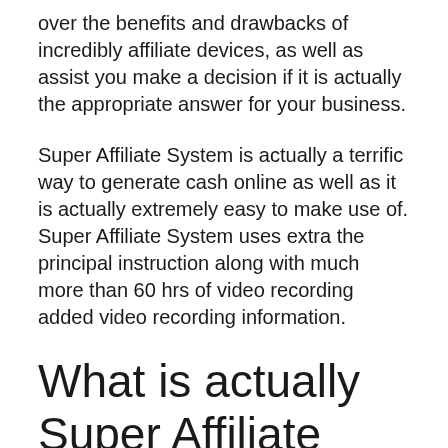over the benefits and drawbacks of incredibly affiliate devices, as well as assist you make a decision if it is actually the appropriate answer for your business.
Super Affiliate System is actually a terrific way to generate cash online as well as it is actually extremely easy to make use of. Super Affiliate System uses extra the principal instruction along with much more than 60 hrs of video recording added video recording information.
What is actually Super Affiliate System and also what